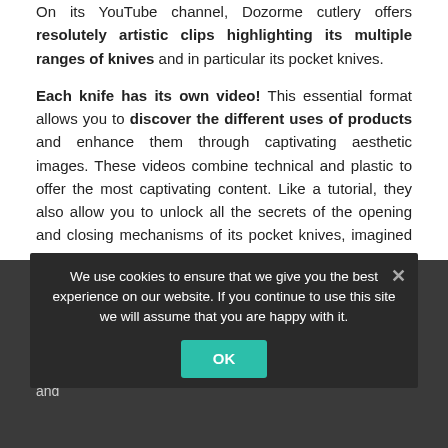On its YouTube channel, Dozorme cutlery offers resolutely artistic clips highlighting its multiple ranges of knives and in particular its pocket knives.
Each knife has its own video! This essential format allows you to discover the different uses of products and enhance them through captivating aesthetic images. These videos combine technical and plastic to offer the most captivating content. Like a tutorial, they also allow you to unlock all the secrets of the opening and closing mechanisms of its pocket knives, imagined by Dozorme cutlery.
A LinkedIn account, the B2B network par excellence
In parallel, to accelerate its business and increase its notoriety, Claude Dozorme has opened a LinkedIn account which aims to enhance the manufacture with a network of professionals via the publication of news, product focus and
We use cookies to ensure that we give you the best experience on our website. If you continue to use this site we will assume that you are happy with it.